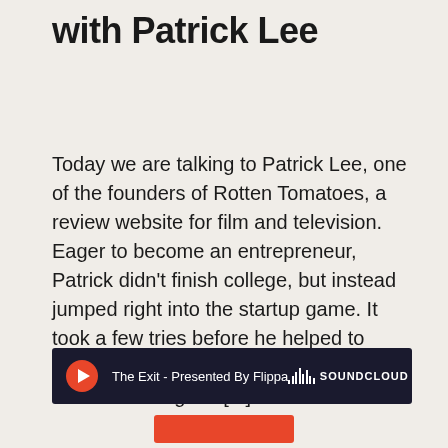with Patrick Lee
Today we are talking to Patrick Lee, one of the founders of Rotten Tomatoes, a review website for film and television. Eager to become an entrepreneur, Patrick didn't finish college, but instead jumped right into the startup game. It took a few tries before he helped to found a successful company. Patrick and his colleagues [...]
[Figure (screenshot): SoundCloud embedded audio player widget with dark background, orange play button, track title 'The Exit - Presented By Flippa', and SoundCloud logo with waveform icon]
[Figure (other): Red button at the bottom of the page, partially visible]